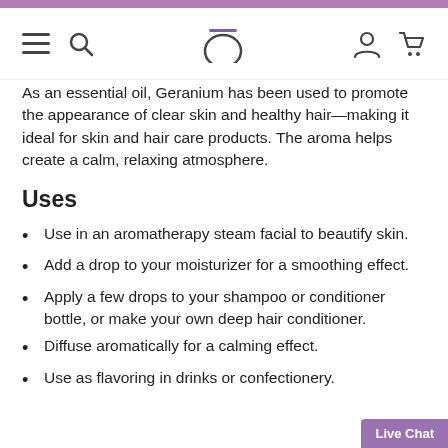Navigation bar with menu, search, logo, account and cart icons
As an essential oil, Geranium has been used to promote the appearance of clear skin and healthy hair—making it ideal for skin and hair care products. The aroma helps create a calm, relaxing atmosphere.
Uses
Use in an aromatherapy steam facial to beautify skin.
Add a drop to your moisturizer for a smoothing effect.
Apply a few drops to your shampoo or conditioner bottle, or make your own deep hair conditioner.
Diffuse aromatically for a calming effect.
Use as flavoring in drinks or confectionery.